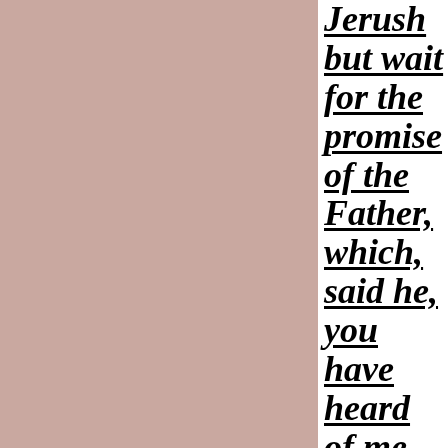[Figure (other): Large pink/mauve colored rectangle occupying the left three-quarters of the page]
Jerusalem, but wait for the promise of the Father, which, said he, you have heard of me.